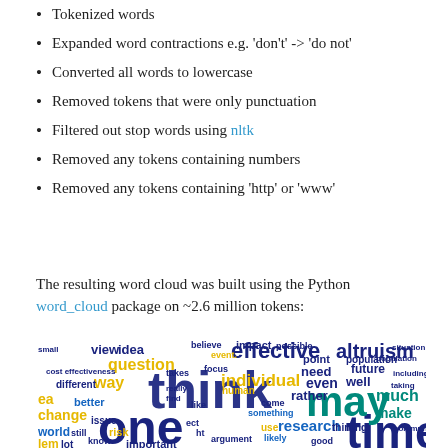Tokenized words
Expanded word contractions e.g. 'don't' -> 'do not'
Converted all words to lowercase
Removed tokens that were only punctuation
Filtered out stop words using nltk
Removed any tokens containing numbers
Removed any tokens containing 'http' or 'www'
The resulting word cloud was built using the Python word_cloud package on ~2.6 million tokens:
[Figure (infographic): Word cloud showing most frequent words from ~2.6 million tokens. Prominent words include: think, one, time, may, effective, altruism, research, individual, human, change, world, use, make, way, idea, view, question, risk, still, lot, future, point, well, even, rather, need, thing, good, likely, come, find, better, different, important, event, impact, possible, believe, long, much, lem, ea, take, strategy]